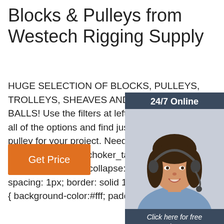Blocks & Pulleys from Westech Rigging Supply
HUGE SELECTION OF BLOCKS, PULLEYS, TROLLEYS, SHEAVES AND OVERHAUL BALLS! Use the filters at left to drill down to all of the options and find just the right block or pulley for your project. Need help? Give us a call @ 800-442-7454. .choker_table { background-color:#000; border-collapse: unset; border-spacing: 1px; border: solid 1px; } .choker_ { background-color:#fff; padding:5px ...
[Figure (photo): Customer service representative with headset, embedded in a dark blue/grey chat widget panel showing '24/7 Online' header, 'Click here for free chat!' text, and 'QUOTATION' orange button.]
Get Price